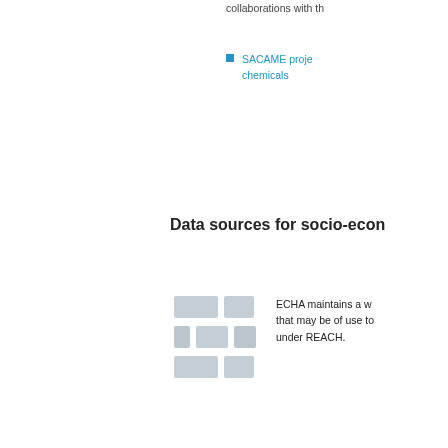collaborations with th
SACAME proje… chemicals
Data sources for socio-econ
[Figure (table-as-image): Grid of grey rectangular blocks arranged in a 3-row layout suggesting a table or data layout placeholder]
ECHA maintains a w… that may be of use to… under REACH.
Web-portal on o…
Reports or publ… CIRCABC)
RELATED
Guidance document on
Addendum: Calculation
Guidance document on